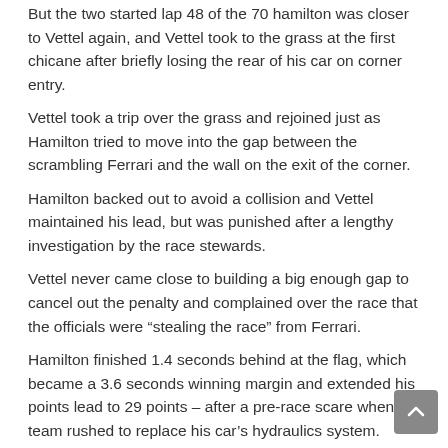But the two started lap 48 of the 70 hamilton was closer to Vettel again, and Vettel took to the grass at the first chicane after briefly losing the rear of his car on corner entry.
Vettel took a trip over the grass and rejoined just as Hamilton tried to move into the gap between the scrambling Ferrari and the wall on the exit of the corner.
Hamilton backed out to avoid a collision and Vettel maintained his lead, but was punished after a lengthy investigation by the race stewards.
Vettel never came close to building a big enough gap to cancel out the penalty and complained over the race that the officials were “stealing the race” from Ferrari.
Hamilton finished 1.4 seconds behind at the flag, which became a 3.6 seconds winning margin and extended his points lead to 29 points – after a pre-race scare when his team rushed to replace his car’s hydraulics system.